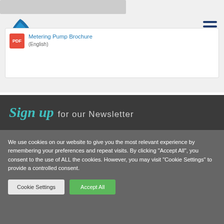[Figure (logo): Emaux logo with blue water drop icon and blue text]
Metering Pump Brochure (English)
Sign up for our Newsletter
We use cookies on our website to give you the most relevant experience by remembering your preferences and repeat visits. By clicking "Accept All", you consent to the use of ALL the cookies. However, you may visit "Cookie Settings" to provide a controlled consent.
Cookie Settings | Accept All